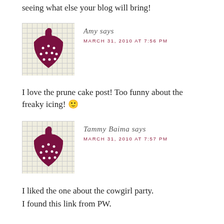seeing what else your blog will bring!
Amy says
MARCH 31, 2010 AT 7:56 PM
[Figure (illustration): Strawberry avatar icon on checkered background]
I love the prune cake post! Too funny about the freaky icing! 🙂
Tammy Baima says
MARCH 31, 2010 AT 7:57 PM
[Figure (illustration): Strawberry avatar icon on checkered background]
I liked the one about the cowgirl party.
I found this link from PW.